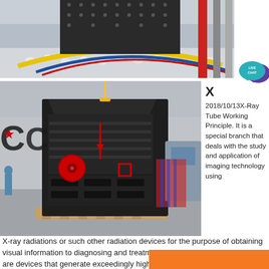[Figure (photo): Industrial machinery photo showing a large black crushing/processing machine with white aggregate material on a conveyor in a factory setting with colorful pipes in background]
[Figure (photo): Live Chat button icon - teal speech bubble with white text LIVE CHAT and a purple speech bubble icon]
[Figure (photo): Large black industrial impact crusher machine being lifted by crane in a factory/warehouse setting, with CCM logo overlay]
X
2018/10/13X-Ray Tube Working Principle. It is a special branch that deals with the study and application of imaging technology using X-ray radiations or such other radiation devices for the purpose of obtaining visual information to diagnosing and treatment of diseases. X-ray machines are devices that generate exceedingly high frequency high energy